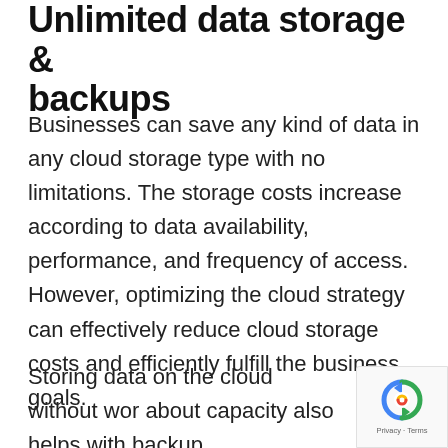Unlimited data storage & backups
Businesses can save any kind of data in any cloud storage type with no limitations. The storage costs increase according to data availability, performance, and frequency of access. However, optimizing the cloud strategy can effectively reduce cloud storage costs and efficiently fulfill the business goals.
Storing data on the cloud without worrying about capacity also helps with backup